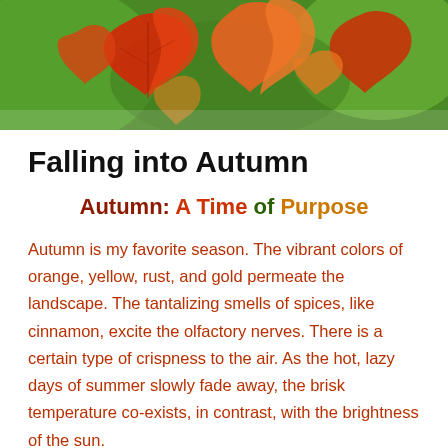[Figure (photo): Autumn maple leaves in vibrant red, orange, and green colors against a blurred background]
Falling into Autumn
Autumn: A Time of Purpose
Autumn is my favorite season. The vibrant colors of orange, yellow, rust, and gold permeate the landscape. The tantalizing smells of spices, like cinnamon, excite the olfactory nerves. There is a certain type of crispness to the air. As the hot, lazy days of summer slowly fade away, the brisk temperature co-exists, in contrast, with the brightness of the sun.